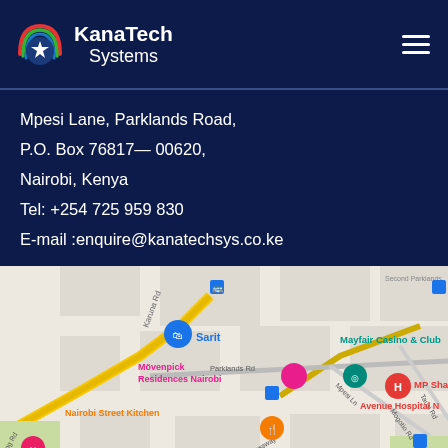[Figure (logo): KanaTech Systems logo with circular icon and white text on dark blue header background]
Mpesi Lane, Parklands Road,
P.O. Box 76817— 00620,
Nairobi, Kenya
Tel: +254 725 959 830
E-mail :enquire@kanatechsys.co.ke
[Figure (map): Google Maps screenshot showing Parklands Road area in Nairobi, Kenya, with landmarks including Oshwal College, Sarit, Mövenpick Residences Nairobi, Mayfair Casino & Club, MP Shah Hospital, Avenue Hospital, Nairobi Street Kitchen, Consolata School, and WESTLANDS label.]